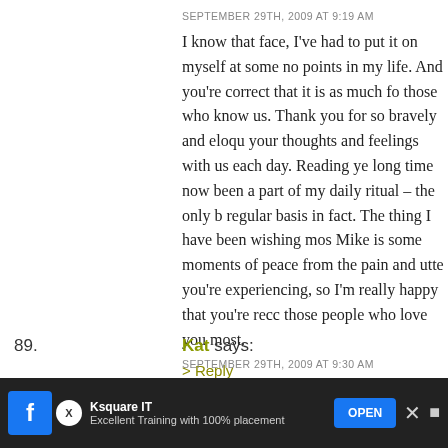SEPTEMBER 29TH, 2009 AT 9:19 AM
I know that face, I've had to put it on myself at some no points in my life. And you're correct that it is as much fo those who know us. Thank you for so bravely and eloqu your thoughts and feelings with us each day. Reading ye long time now been a part of my daily ritual – the only b regular basis in fact. The thing I have been wishing mos Mike is some moments of peace from the pain and utte you're experiencing, so I'm really happy that you're recc those people who love you most.
> Reply
89. Kat says:
SEPTEMBER 29TH, 2009 AT 9:30 AM
Heather, I never stop being amazed at how wonderful y well you are able to articulate a single feeling. Thank yo are amazing and beautiful ♥
.-= Kat's last blog ..(i love my) geeky boyfriend =-.
[Figure (screenshot): Advertisement bar at bottom: Ksquare IT - Excellent Training with 100% placement, with OPEN button]